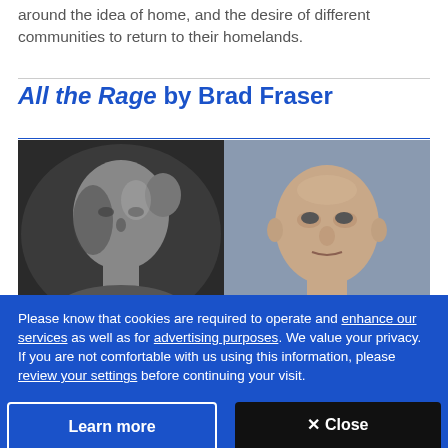around the idea of home, and the desire of different communities to return to their homelands.
All the Rage by Brad Fraser
[Figure (photo): Two side-by-side photos of Brad Fraser: left is a black-and-white portrait of a bald man touching the back of his head, right is a color portrait of a bald middle-aged man looking at the camera.]
Please know that cookies are required to operate and enhance our services as well as for advertising purposes. We value your privacy. If you are not comfortable with us using this information, please review your settings before continuing your visit.